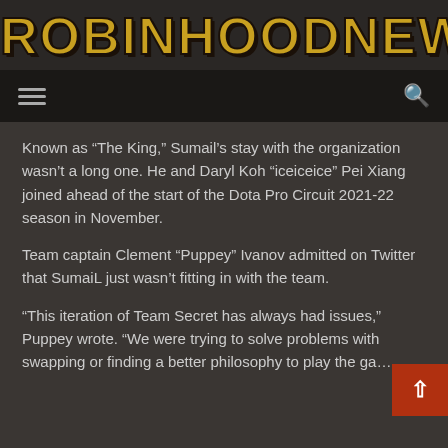[Figure (logo): RobinhoodNews logo in orange/gold bold text on dark background]
Navigation bar with hamburger menu icon and search icon
Known as “The King,” Sumail’s stay with the organization wasn’t a long one. He and Daryl Koh “iceiceice” Pei Xiang joined ahead of the start of the Dota Pro Circuit 2021-22 season in November.
Team captain Clement “Puppey” Ivanov admitted on Twitter that SumaiL just wasn’t fitting in with the team.
“This iteration of Team Secret has always had issues,” Puppey wrote. “We were trying to solve problems with swapping or finding a better philosophy to play the ga…